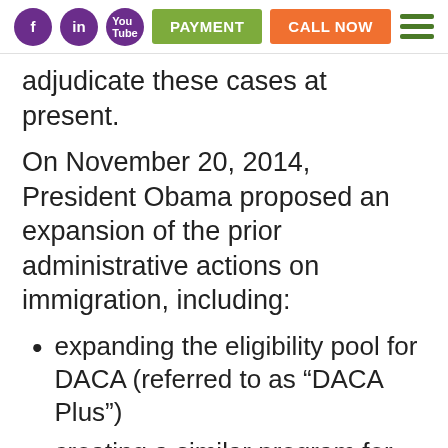PAYMENT  CALL NOW
adjudicate these cases at present.
On November 20, 2014, President Obama proposed an expansion of the prior administrative actions on immigration, including:
expanding the eligibility pool for DACA (referred to as “DACA Plus”)
creating a similar program for the parents of U.S. citizens and Lawful Permanent Residents (“Deferred